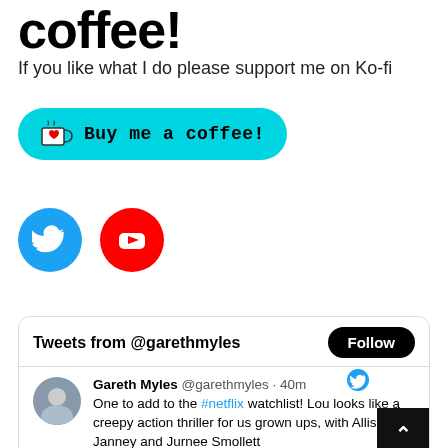coffee!
If you like what I do please support me on Ko-fi
[Figure (illustration): Cyan/turquoise rounded button with a Ko-fi cup icon and text 'Buy me a coffee!']
[Figure (illustration): Two social media icons: blue Twitter bird circle and red YouTube play button circle]
[Figure (screenshot): Twitter widget showing 'Tweets from @garethmyles' with a Follow button and a tweet by Gareth Myles about #netflix Lou movie]